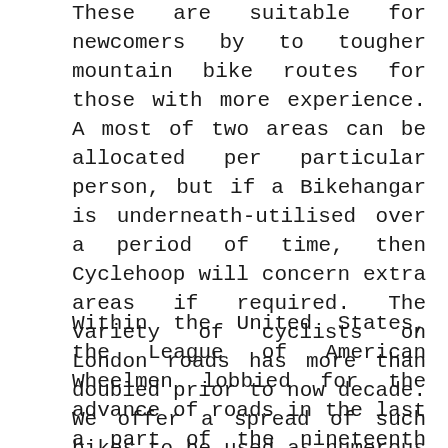These are suitable for newcomers by to tougher mountain bike routes for those with more experience. A most of two areas can be allocated per particular person, but if a Bikehangar is underneath-utilised over a period of time, then Cyclehoop will concern extra areas if required. The variety of cyclists on London roads has more than doubled prior to now decade. We offer a spread of such bikes to be used as numerous as grime or observe racing, mountain trails or on-street cycling.
Within the United States, the League of American Wheelmen lobbied for the advance of roads in the last a part of the nineteenth century, founding and main the national Good Roads Movement Their mannequin for political organization, as well as the paved roads for which they argued, facilitated the